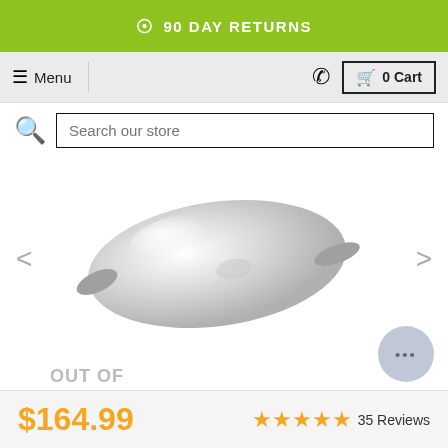90 DAY RETURNS
≡ Menu
☎ 0 Cart
Search our store
[Figure (photo): Silver metallic fishing lure or sinker, teardrop/oval shaped with small fins, on white background]
OUT OF STOCK
$164.99
★★★★★ 35 Reviews